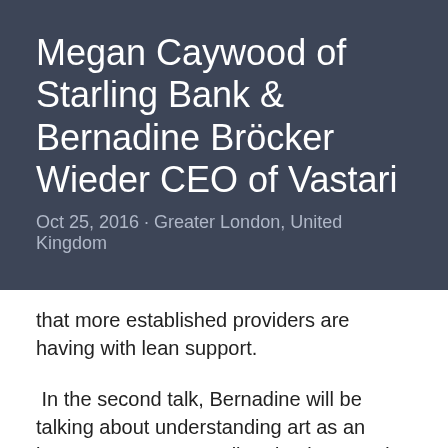Megan Caywood of Starling Bank & Bernadine Bröcker Wieder CEO of Vastari
Oct 25, 2016 · Greater London, United Kingdom
that more established providers are having with lean support.
In the second talk, Bernadine will be talking about understanding art as an investment, secure online database and collectors anonymity and her experience of acceleration through the Microsoft Ventures Accelerator Programme.
Our new series of events highlighting top Startups from London showcasing best practice in startups